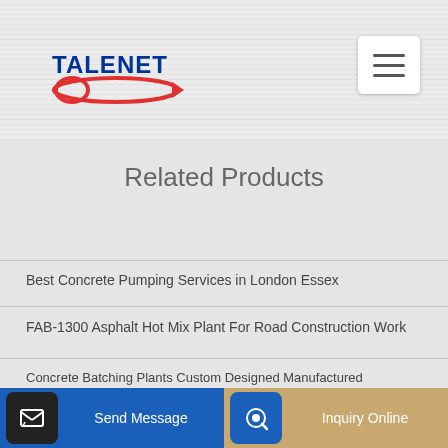[Figure (logo): Talenet logo with red ellipse/arrow graphic and blue bold text TALENET]
[Figure (other): Hamburger menu icon button (three horizontal lines) in white rounded rectangle]
Related Products
Best Concrete Pumping Services in London Essex
FAB-1300 Asphalt Hot Mix Plant For Road Construction Work
Concrete Batching Plants Custom Designed Manufactured
Send Message
Inquiry Online